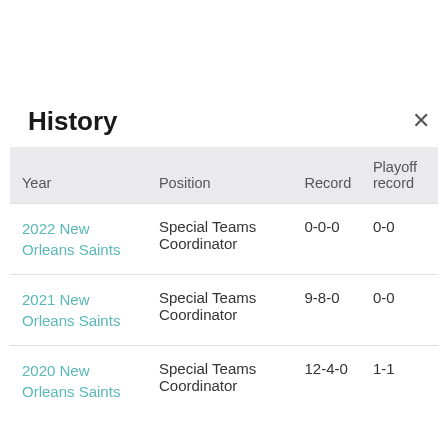History
| Year | Position | Record | Playoff record |
| --- | --- | --- | --- |
| 2022 New Orleans Saints | Special Teams Coordinator | 0-0-0 | 0-0 |
| 2021 New Orleans Saints | Special Teams Coordinator | 9-8-0 | 0-0 |
| 2020 New Orleans Saints | Special Teams Coordinator | 12-4-0 | 1-1 |